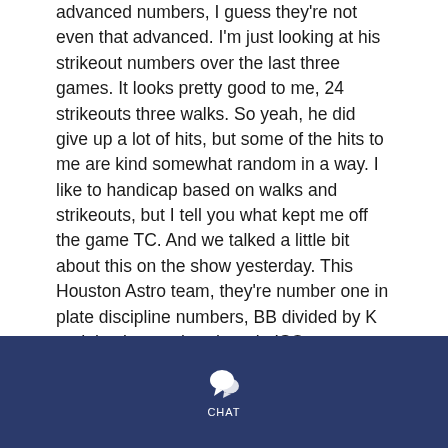advanced numbers, I guess they're not even that advanced. I'm just looking at his strikeout numbers over the last three games. It looks pretty good to me, 24 strikeouts three walks. So yeah, he did give up a lot of hits, but some of the hits to me are kind somewhat random in a way. I like to handicap based on walks and strikeouts, but I tell you what kept me off the game TC. And we talked a little bit about this on the show yesterday. This Houston Astro team, they're number one in plate discipline numbers, BB divided by K and they're number three in ISO power yet they're only like on the board right now.
Basewinner:
Let me just take a look at it real fast so that I'm giving
CHAT